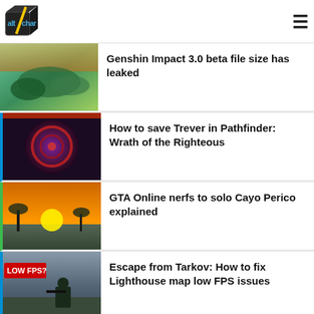AltChar — navigation header with logo and hamburger menu
Genshin Impact 3.0 beta file size has leaked
How to save Trever in Pathfinder: Wrath of the Righteous
GTA Online nerfs to solo Cayo Perico explained
Escape from Tarkov: How to fix Lighthouse map low FPS issues
Pathfinder: WotR Legacy of the…